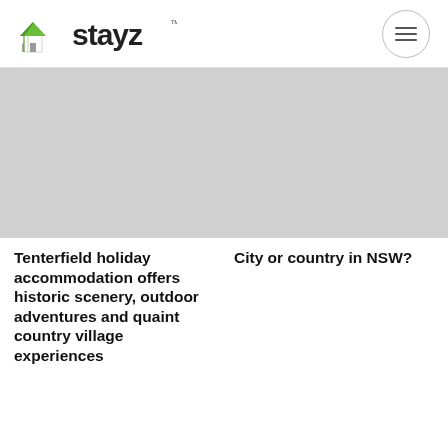[Figure (logo): Stayz logo with green house icon and 'stayz' text with trademark symbol]
[Figure (photo): Left placeholder image (grey rectangle) for Tenterfield holiday accommodation article]
[Figure (photo): Right placeholder image (grey rectangle) for City or country in NSW article]
Tenterfield holiday accommodation offers historic scenery, outdoor adventures and quaint country village experiences
City or country in NSW?